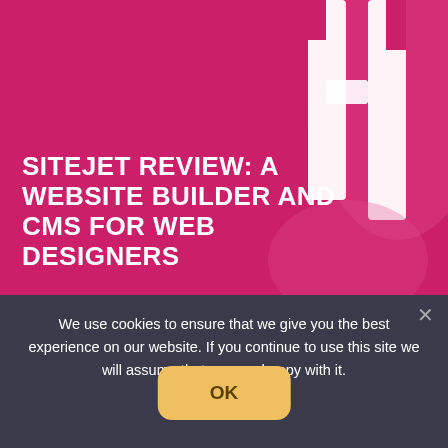[Figure (illustration): Hero banner with magenta/pink background and decorative white geometric shapes (rocket or abstract design) in the upper right corner]
SITEJET REVIEW: A WEBSITE BUILDER AND CMS FOR WEB DESIGNERS
We use cookies to ensure that we give you the best experience on our website. If you continue to use this site we will assume that you are happy with it.